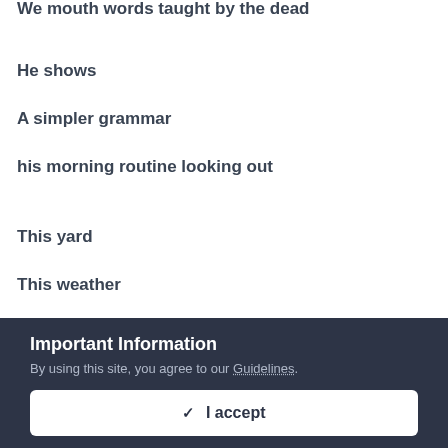We mouth words taught by the dead
He shows
A simpler grammar
his morning routine looking out
This yard
This weather
This window
This view
Important Information
By using this site, you agree to our Guidelines.
✓ I accept